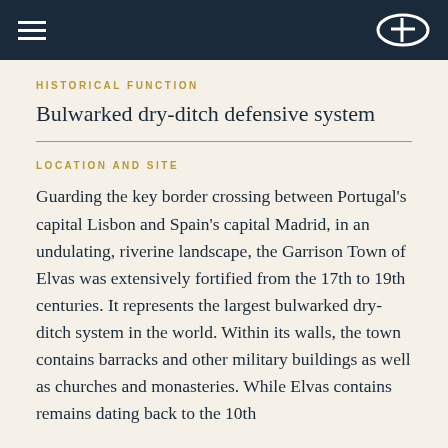HISTORICAL FUNCTION
Bulwarked dry-ditch defensive system
LOCATION AND SITE
Guarding the key border crossing between Portugal's capital Lisbon and Spain's capital Madrid, in an undulating, riverine landscape, the Garrison Town of Elvas was extensively fortified from the 17th to 19th centuries. It represents the largest bulwarked dry-ditch system in the world. Within its walls, the town contains barracks and other military buildings as well as churches and monasteries. While Elvas contains remains dating back to the 10th